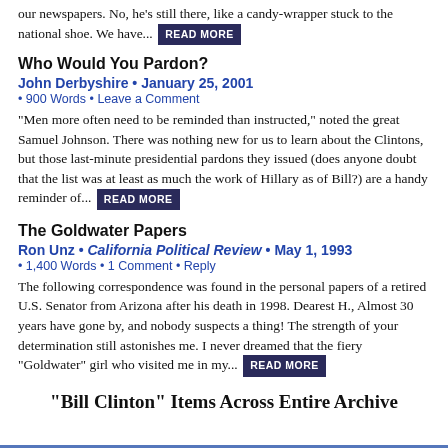our newspapers. No, he's still there, like a candy-wrapper stuck to the national shoe. We have... READ MORE
Who Would You Pardon?
John Derbyshire • January 25, 2001
• 900 Words • Leave a Comment
"Men more often need to be reminded than instructed," noted the great Samuel Johnson. There was nothing new for us to learn about the Clintons, but those last-minute presidential pardons they issued (does anyone doubt that the list was at least as much the work of Hillary as of Bill?) are a handy reminder of... READ MORE
The Goldwater Papers
Ron Unz • California Political Review • May 1, 1993
• 1,400 Words • 1 Comment • Reply
The following correspondence was found in the personal papers of a retired U.S. Senator from Arizona after his death in 1998. Dearest H., Almost 30 years have gone by, and nobody suspects a thing! The strength of your determination still astonishes me. I never dreamed that the fiery "Goldwater" girl who visited me in my... READ MORE
"Bill Clinton" Items Across Entire Archive